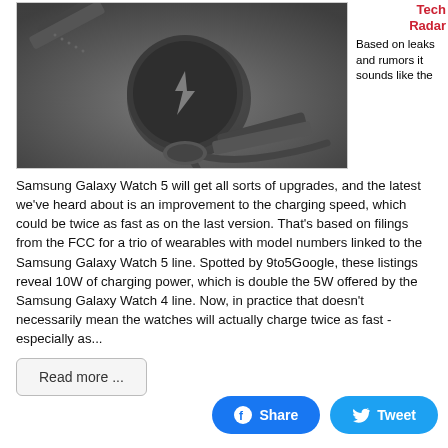[Figure (photo): A Samsung Galaxy Watch placed on a wireless charging pad, dark background, viewed from above at an angle. The watch has a round face and a dark band.]
Tech
Radar

Based on leaks and rumors it sounds like the
Samsung Galaxy Watch 5 will get all sorts of upgrades, and the latest we've heard about is an improvement to the charging speed, which could be twice as fast as on the last version. That's based on filings from the FCC for a trio of wearables with model numbers linked to the Samsung Galaxy Watch 5 line. Spotted by 9to5Google, these listings reveal 10W of charging power, which is double the 5W offered by the Samsung Galaxy Watch 4 line. Now, in practice that doesn't necessarily mean the watches will actually charge twice as fast - especially as...
Read more ...
Share
Tweet